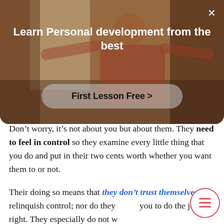[Figure (screenshot): Modal overlay showing a person in a room with arms outstretched, with a close (×) button at top right, a bold white title 'Learn Personal development from the best', and a frosted 'First Lesson Free >' button.]
Learn Personal development from the best
First Lesson Free >
Don't worry, it's not about you but about them. They need to feel in control so they examine every little thing that you do and put in their two cents worth whether you want them to or not.
Their doing so means that they don't trust themselves to relinquish control; nor do they you to do the job right. They especially do not want you to become in any way more skilled or